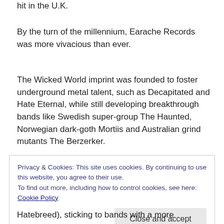hit in the U.K.
By the turn of the millennium, Earache Records was more vivacious than ever.
The Wicked World imprint was founded to foster underground metal talent, such as Decapitated and Hate Eternal, while still developing breakthrough bands like Swedish super-group The Haunted, Norwegian dark-goth Mortiis and Australian grind mutants The Berzerker.
Privacy & Cookies: This site uses cookies. By continuing to use this website, you agree to their use.
To find out more, including how to control cookies, see here: Cookie Policy
Close and accept
Hatebreed), sticking to bands with a more